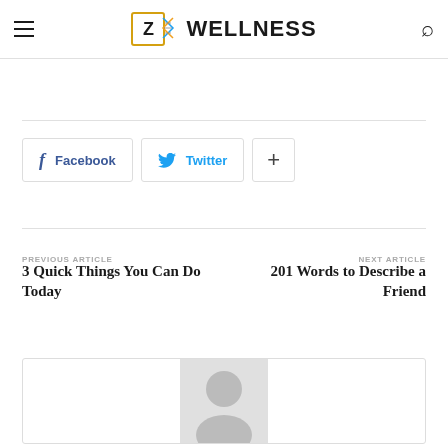Z WELLNESS
[Figure (logo): Z Wellness logo with orange-bordered Z box and DNA helix, followed by WELLNESS in bold black text]
[Figure (infographic): Social share buttons: Facebook, Twitter, and a plus button]
PREVIOUS ARTICLE
3 Quick Things You Can Do Today
NEXT ARTICLE
201 Words to Describe a Friend
[Figure (photo): Author avatar placeholder with grey silhouette person icon]